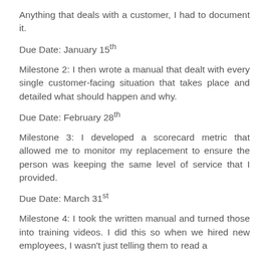Anything that deals with a customer, I had to document it.
Due Date: January 15th
Milestone 2: I then wrote a manual that dealt with every single customer-facing situation that takes place and detailed what should happen and why.
Due Date: February 28th
Milestone 3: I developed a scorecard metric that allowed me to monitor my replacement to ensure the person was keeping the same level of service that I provided.
Due Date: March 31st
Milestone 4: I took the written manual and turned those into training videos. I did this so when we hired new employees, I wasn't just telling them to read a